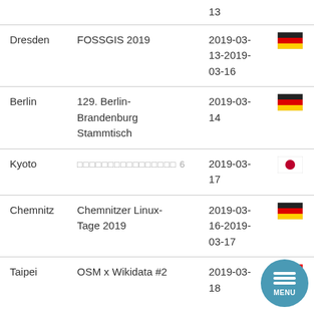| Location | Event | Date | Country |
| --- | --- | --- | --- |
|  |  | 13 |  |
| Dresden | FOSSGIS 2019 | 2019-03-13-2019-03-16 | DE |
| Berlin | 129. Berlin-Brandenburg Stammtisch | 2019-03-14 | DE |
| Kyoto | □□□□□□□□□□□□□□□□ 6 | 2019-03-17 | JP |
| Chemnitz | Chemnitzer Linux-Tage 2019 | 2019-03-16-2019-03-17 | DE |
| Taipei | OSM x Wikidata #2 | 2019-03-18 | TW |